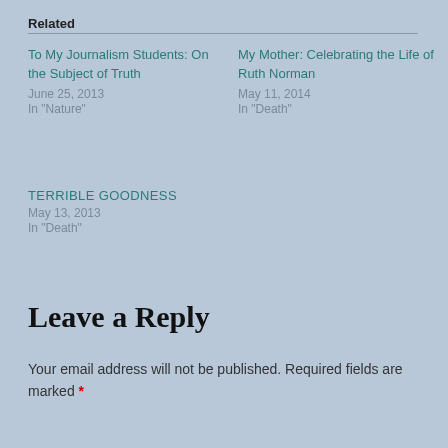Related
To My Journalism Students: On the Subject of Truth
June 25, 2013
In "Nature"
My Mother: Celebrating the Life of Ruth Norman
May 11, 2014
In "Death"
TERRIBLE GOODNESS
May 13, 2013
In "Death"
Leave a Reply
Your email address will not be published. Required fields are marked *